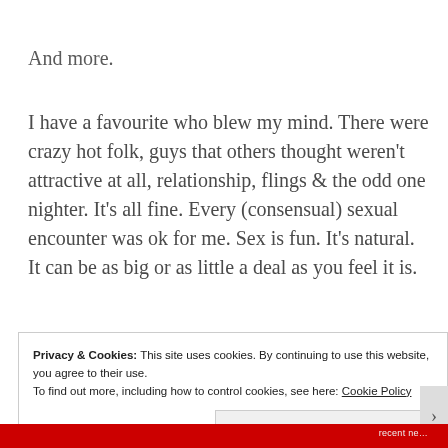And more.
I have a favourite who blew my mind. There were crazy hot folk, guys that others thought weren't attractive at all, relationship, flings & the odd one nighter. It's all fine. Every (consensual) sexual encounter was ok for me. Sex is fun. It's natural. It can be as big or as little a deal as you feel it is.
Privacy & Cookies: This site uses cookies. By continuing to use this website, you agree to their use.
To find out more, including how to control cookies, see here: Cookie Policy
Close and accept